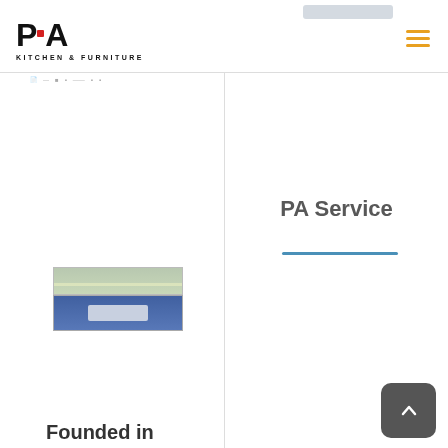PA Kitchen & Furniture
[Figure (logo): PA Kitchen & Furniture logo with bold PA letters and a red square dot, and hamburger menu icon in orange]
[Figure (photo): Interior photo of a large building/exhibition hall with green ceiling lights on top and a blue-toned entrance area below with a reception desk]
Founded in
PA Service
[Figure (other): Blue horizontal divider line below PA Service heading]